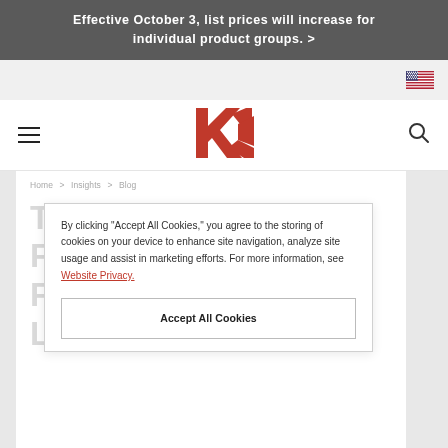Effective October 3, list prices will increase for individual product groups. >
[Figure (logo): KI company logo - red geometric K and I letters]
By clicking "Accept All Cookies," you agree to the storing of cookies on your device to enhance site navigation, analyze site usage and assist in marketing efforts. For more information, see Website Privacy.
The Impact of Flexible Furniture within Learning Spaces
FEBRUARY 11, 2019
EDUCATION